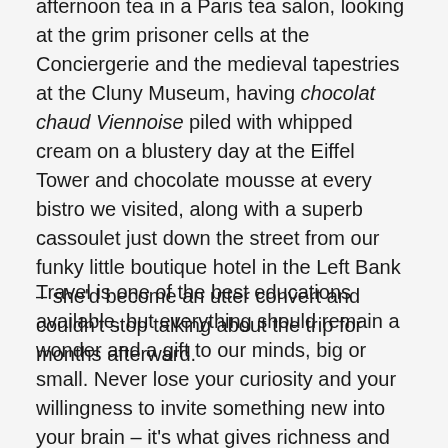afternoon tea in a Paris tea salon, looking at the grim prisoner cells at the Conciergerie and the medieval tapestries at the Cluny Museum, having chocolat chaud Viennoise piled with whipped cream on a blustery day at the Eiffel Tower and chocolate mousse at every bistro we visited, along with a superb cassoulet just down the street from our funky little boutique hotel in the Left Bank – she'd become an utter convert and couldn't stop talking about the trip for months afterward.
Travel is one of the best educations available, but everything should remain a wonder and a gift to our minds, big or small. Never lose your curiosity and your willingness to invite something new into your brain – it's what gives richness and stimulation to our lives. Don't ever let your kindled flame go out.